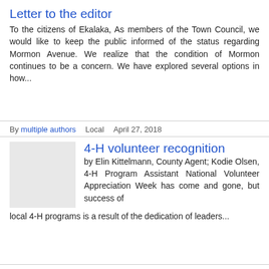Letter to the editor
To the citizens of Ekalaka, As members of the Town Council, we would like to keep the public informed of the status regarding Mormon Avenue. We realize that the condition of Mormon continues to be a concern. We have explored several options in how...
By multiple authors   Local   April 27, 2018
4-H volunteer recognition
by Elin Kittelmann, County Agent; Kodie Olsen, 4-H Program Assistant National Volunteer Appreciation Week has come and gone, but success of local 4-H programs is a result of the dedication of leaders...
By multiple authors   Local   April 20, 2018